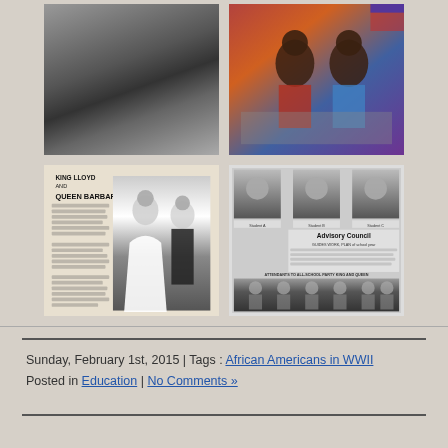[Figure (photo): Black and white photo of WWII planes with 'For Whites Only' sign text overlaid on an airfield scene]
[Figure (photo): Colorful painting of African American figures sitting on a vehicle]
[Figure (photo): Newspaper page showing King Lloyd and Queen Barbara with couple photo and text columns]
[Figure (photo): Newspaper page showing Advisory Council with portraits and group photo of attendants to all-school party king and queen]
Sunday, February 1st, 2015 | Tags : African Americans in WWII
Posted in Education | No Comments »